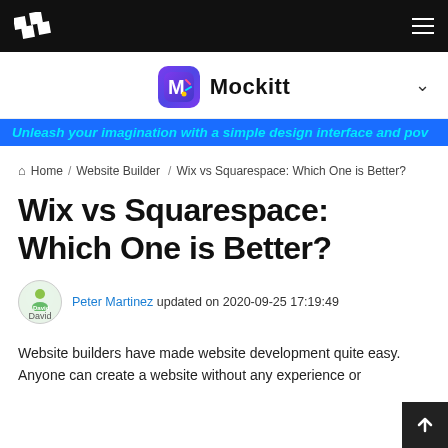Mockitt navigation bar with hamburger menu
[Figure (screenshot): Mockitt app logo banner with purple icon and app name, and a blue promotional banner reading: Unleash your imagination with a simple design interface and pov]
Home / Website Builder / Wix vs Squarespace: Which One is Better?
Wix vs Squarespace: Which One is Better?
Peter Martinez updated on 2020-09-25 17:19:49
Website builders have made website development quite easy. Anyone can create a website without any experience or